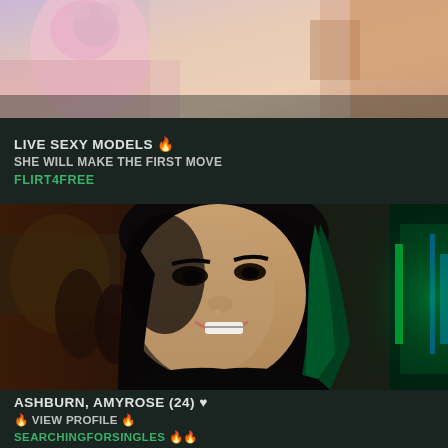[Figure (photo): Partial photo of a person/toy figures, colorful background, pink and warm tones]
LIVE SEXY MODELS 🔥
SHE WILL MAKE THE FIRST MOVE
FLIRT4FREE
[Figure (photo): Young woman with dark hair and green highlights smiling, in an arcade/gaming venue with colorful lights in the background]
ASHBURN, AMYROSE (24) 🖤
🔥 VIEW PROFILE 🔥
SEARCHINGFORSINGLES 🔥🔥